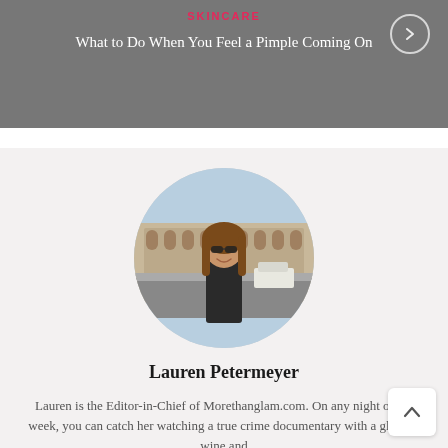[Figure (screenshot): Top banner with dark overlay showing skincare category label in pink, article title 'What to Do When You Feel a Pimple Coming On' in white, and a circular arrow button on the right]
[Figure (photo): Circular profile photo of Lauren Petermeyer standing in front of the Colosseum in Rome, wearing sunglasses and a dark top, with long wavy hair]
Lauren Petermeyer
Lauren is the Editor-in-Chief of Morethanglam.com. On any night of the week, you can catch her watching a true crime documentary with a glass of wine and